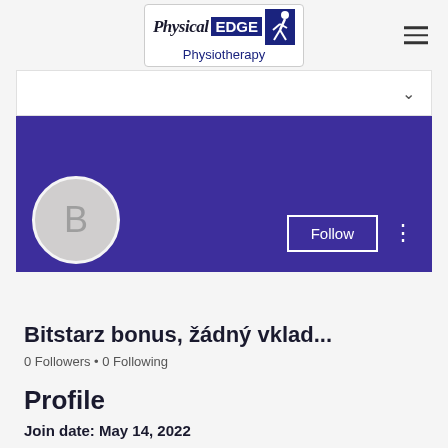[Figure (logo): Physical EDGE Physiotherapy logo with stylized runner figure in navy blue]
[Figure (screenshot): Dropdown navigation bar with chevron]
[Figure (screenshot): Purple profile banner with Follow button, avatar circle with letter B, and three-dot menu]
Bitstarz bonus, žádný vklad...
0 Followers • 0 Following
Profile
Join date: May 14, 2022